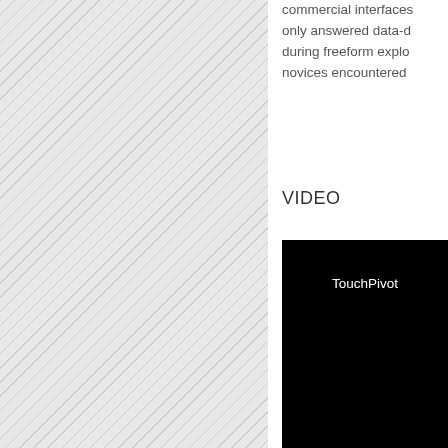[Figure (other): Left panel with diagonal hatching pattern background (grey and white diagonal lines)]
commercial interfaces only answered data-d during freeform explo novices encountered
VIDEO
[Figure (screenshot): Black video player thumbnail with white text reading 'TouchPivot' (partially visible)]